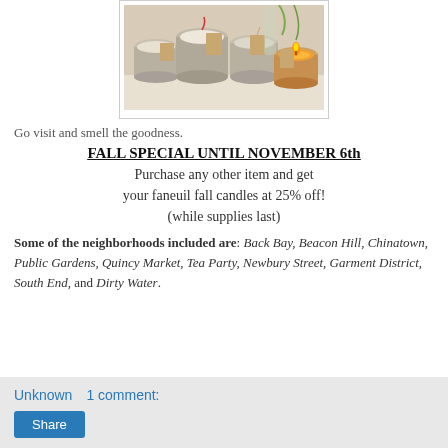[Figure (photo): Photo of multiple scented candles in tin containers with kraft paper tags, one lit candle glowing orange on the right]
Go visit and smell the goodness.
FALL SPECIAL UNTIL NOVEMBER 6th
Purchase any other item and get your faneuil fall candles at 25% off!
(while supplies last)
Some of the neighborhoods included are: Back Bay, Beacon Hill, Chinatown, Public Gardens, Quincy Market, Tea Party, Newbury Street, Garment District, South End, and Dirty Water.
Unknown   1 comment:
Share